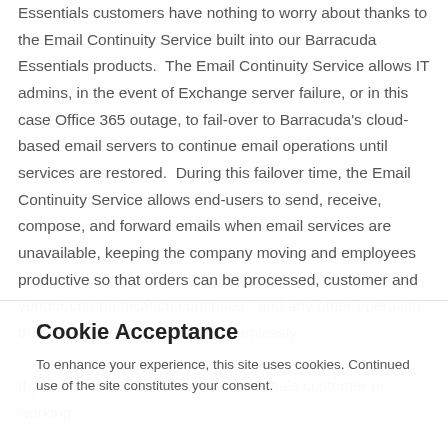Essentials customers have nothing to worry about thanks to the Email Continuity Service built into our Barracuda Essentials products.  The Email Continuity Service allows IT admins, in the event of Exchange server failure, or in this case Office 365 outage, to fail-over to Barracuda's cloud-based email servers to continue email operations until services are restored.  During this failover time, the Email Continuity Service allows end-users to send, receive, compose, and forward emails when email services are unavailable, keeping the company moving and employees productive so that orders can be processed, customer and vendor communication continues,  and any other operation that requires email continues seamlessly.

If you are a current Barracuda Essentials customer or working
Cookie Acceptance
To enhance your experience, this site uses cookies. Continued use of the site constitutes your consent.